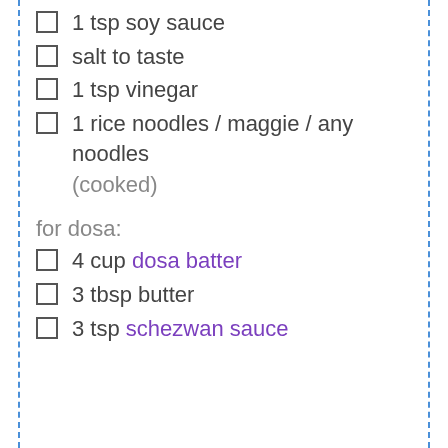1 tsp soy sauce
salt to taste
1 tsp vinegar
1 rice noodles / maggie / any noodles (cooked)
for dosa:
4 cup dosa batter
3 tbsp butter
3 tsp schezwan sauce